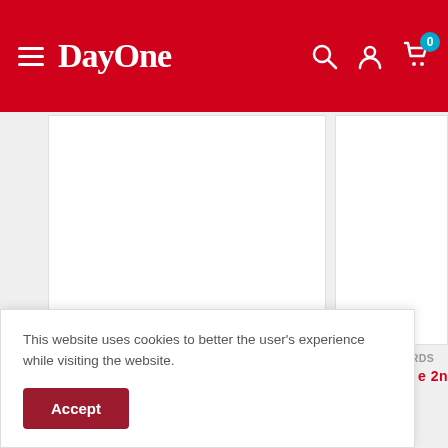DayOne
[Figure (screenshot): Website screenshot showing DayOne bookstore navigation bar with hamburger menu, DayOne logo, search icon, account icon, and cart icon with badge showing 0]
MARY WEEKS MILLARD
BRIAN EDWARDS
This website uses cookies to better the user's experience while visiting the website.
Accept